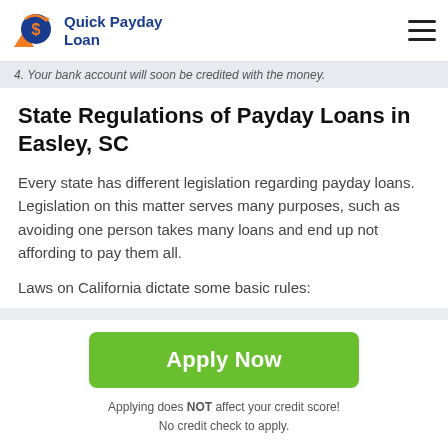Quick Payday Loan
4. Your bank account will soon be credited with the money.
State Regulations of Payday Loans in Easley, SC
Every state has different legislation regarding payday loans. Legislation on this matter serves many purposes, such as avoiding one person takes many loans and end up not affording to pay them all.
Laws on California dictate some basic rules:
Maximum loan amount: $500
Apply Now
Applying does NOT affect your credit score!
No credit check to apply.